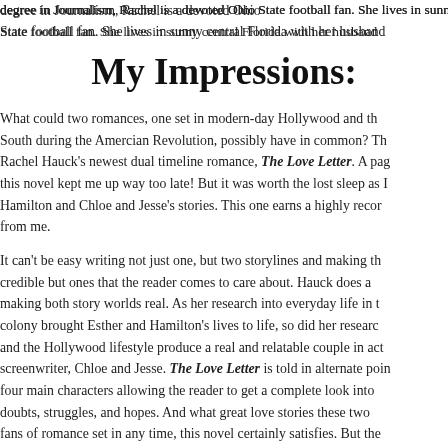degree in Journalism, Rachel is a devoted Ohio State football fan. She lives in sunny central Florida with her husband
My Impressions:
What could two romances, one set in modern-day Hollywood and the South during the Amercian Revolution, possibly have in common? This is Rachel Hauck's newest dual timeline romance, The Love Letter. A page-turner, this novel kept me up way too late! But it was worth the lost sleep as I fell into Hamilton and Chloe and Jesse's stories. This one earns a highly recommended from me.

It can't be easy writing not just one, but two storylines and making them not only credible but ones that the reader comes to care about. Hauck does a great job making both story worlds real. As her research into everyday life in the Georgia colony brought Esther and Hamilton's lives to life, so did her research into acting and the Hollywood lifestyle produce a real and relatable couple in actor and screenwriter, Chloe and Jesse. The Love Letter is told in alternate points of view of four main characters allowing the reader to get a complete look into each characters doubts, struggles, and hopes. And what great love stories these two are! For fans of romance set in any time, this novel certainly satisfies. But the real best part of this book is the revelation of the love God has for people. I lov